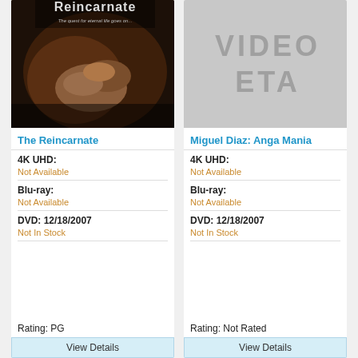[Figure (photo): Movie poster for The Reincarnate showing dark dramatic close-up of hands with title text]
The Reincarnate
4K UHD:
Not Available
Blu-ray:
Not Available
DVD: 12/18/2007
Not In Stock
Rating: PG
View Details
[Figure (logo): Placeholder image with VIDEO ETA watermark text in gray]
Miguel Diaz: Anga Mania
4K UHD:
Not Available
Blu-ray:
Not Available
DVD: 12/18/2007
Not In Stock
Rating: Not Rated
View Details